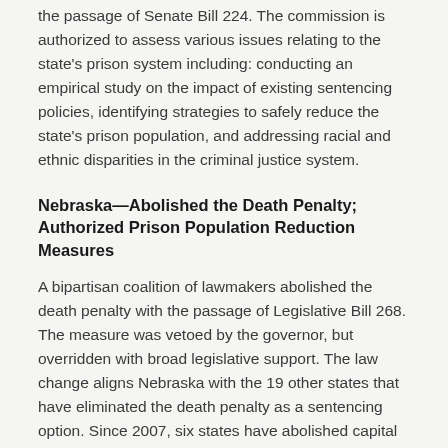the passage of Senate Bill 224. The commission is authorized to assess various issues relating to the state's prison system including: conducting an empirical study on the impact of existing sentencing policies, identifying strategies to safely reduce the state's prison population, and addressing racial and ethnic disparities in the criminal justice system.
Nebraska—Abolished the Death Penalty; Authorized Prison Population Reduction Measures
A bipartisan coalition of lawmakers abolished the death penalty with the passage of Legislative Bill 268. The measure was vetoed by the governor, but overridden with broad legislative support. The law change aligns Nebraska with the 19 other states that have eliminated the death penalty as a sentencing option. Since 2007, six states have abolished capital punishment: Connecticut, Illinois, Maryland, New Jersey, New Mexico, and New York. In 2016, Nebraska voters will vote on a ballot measure that could reinstate the death penalty.
Legislative Bill 605 addressed chronic prison overcrowding